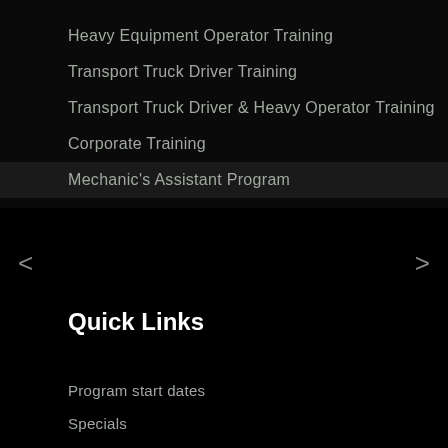Heavy Equipment Operator Training
Transport Truck Driver Training
Transport Truck Driver & Heavy Operator Training
Corporate Training
Mechanic's Assistant Program
Quick Links
Program start dates
Specials
About Us